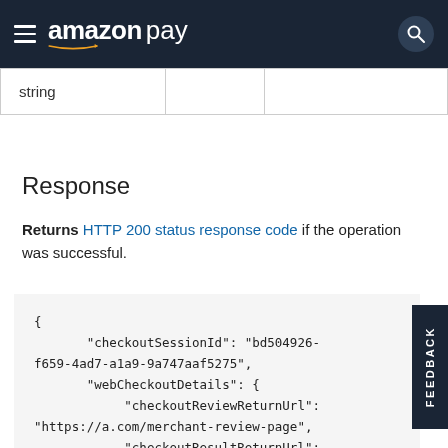Amazon Pay
| string |  |  |
Response
Returns HTTP 200 status response code if the operation was successful.
{
    "checkoutSessionId": "bd504926-f659-4ad7-a1a9-9a747aaf5275",
    "webCheckoutDetails": {
        "checkoutReviewReturnUrl": "https://a.com/merchant-review-page",
        "checkoutResultReturnUrl": null,